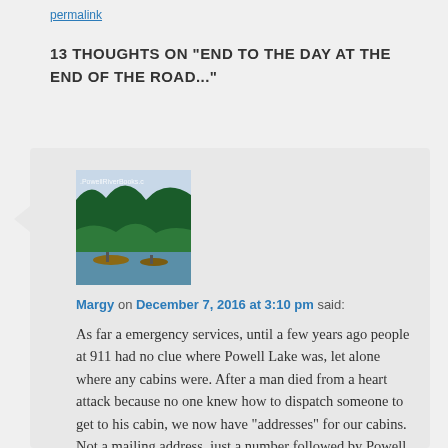permalink
13 THOUGHTS ON "END TO THE DAY AT THE END OF THE ROAD..."
[Figure (photo): Avatar image for PowellRiverBooks blog showing green landscape with boats]
Margy on December 7, 2016 at 3:10 pm said:
As far a emergency services, until a few years ago people at 911 had no clue where Powell Lake was, let alone where any cabins were. After a man died from a heart attack because no one knew how to dispatch someone to get to his cabin, we now have “addresses” for our cabins. Not a mailing address, just a number followed by Powell Lake, but we have been assured that that information is now in the hands of emergency services operators